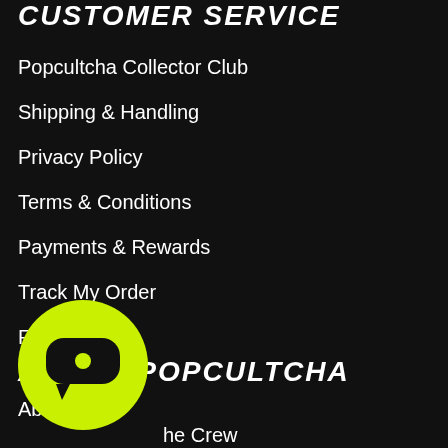CUSTOMER SERVICE
Popcultcha Collector Club
Shipping & Handling
Privacy Policy
Terms & Conditions
Payments & Rewards
Track My Order
FAQ
ABOUT POPCULTCHA
About Us
Meet the Crew
Employment
[Figure (illustration): Round yellow-green chat/support button with dark speech bubble icon containing a play dot, positioned bottom-left]